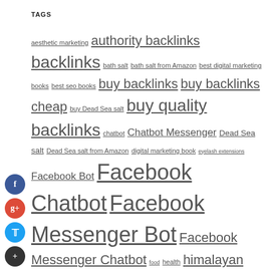TAGS
aesthetic marketing authority backlinks backlinks bath salt bath salt from Amazon best digital marketing books best seo books buy backlinks buy backlinks cheap buy Dead Sea salt buy quality backlinks chatbot Chatbot Messenger Dead Sea salt Dead Sea salt from Amazon digital marketing book eyelash extensions Facebook Bot Facebook Chatbot Facebook Messenger Bot Facebook Messenger Chatbot food health himalayan pink salt Himalayan salt marketing aesthetics medical spa marketing medical spa marketing companies medical spa seo med spa marketing Messenger Bot Pink Himalayan salt Pink salt podchatlive podiatry pool enclosure cost pool enclosures pure Dead Sea salt real estate Repair seo book seo books service services web design